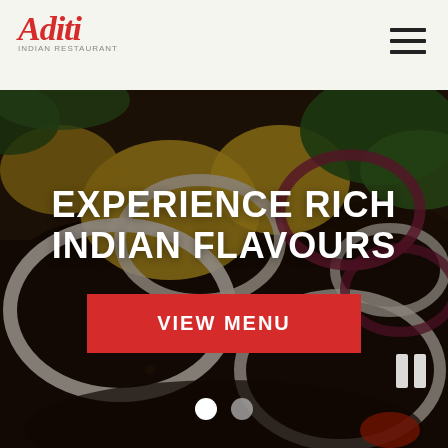[Figure (logo): Aditi restaurant logo in red italic script with tagline below]
[Figure (photo): Close-up photo of Indian spiced fish/meat with onion rings, yellow peppers, and green herbs as hero background]
EXPERIENCE RICH INDIAN FLAVOURS
VIEW MENU